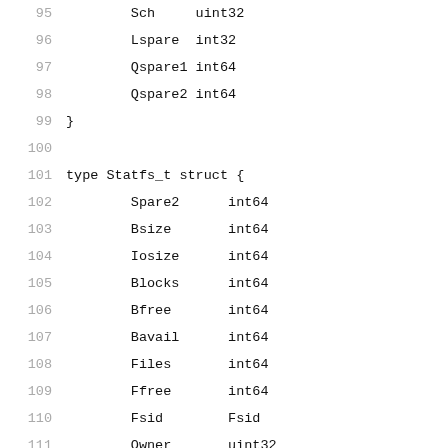95    Sch    uint32
96    Lspare  int32
97    Qspare1 int64
98    Qspare2 int64
99  }
100
101  type Statfs_t struct {
102        Spare2      int64
103        Bsize       int64
104        Iosize      int64
105        Blocks      int64
106        Bfree       int64
107        Bavail      int64
108        Files       int64
109        Ffree       int64
110        Fsid        Fsid
111        Owner       uint32
112        Type        int32
113        Flags       int32
114        Pad_cgo_0   [4]byte
115        Syncwrites  int64
116        Asyncwrites int64